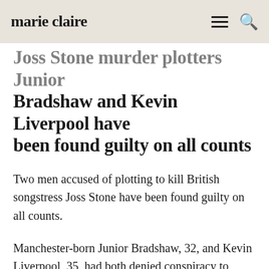marie claire
Joss Stone murder plotters Junior Bradshaw and Kevin Liverpool have been found guilty on all counts
Two men accused of plotting to kill British songstress Joss Stone have been found guilty on all counts.
Manchester-born Junior Bradshaw, 32, and Kevin Liverpool, 35, had both denied conspiracy to murder, rob and cause grievous